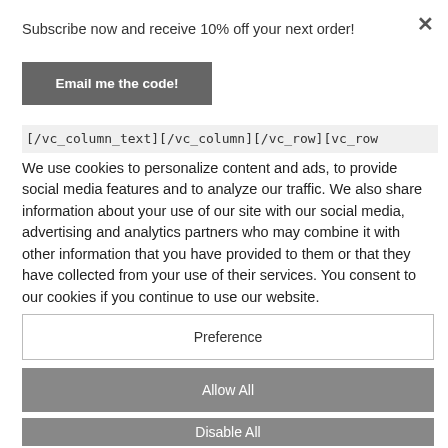Subscribe now and receive 10% off your next order!
Email me the code!
[/vc_column_text][/vc_column][/vc_row][vc_row
We use cookies to personalize content and ads, to provide social media features and to analyze our traffic. We also share information about your use of our site with our social media, advertising and analytics partners who may combine it with other information that you have provided to them or that they have collected from your use of their services. You consent to our cookies if you continue to use our website.
Preference
Allow All
Disable All